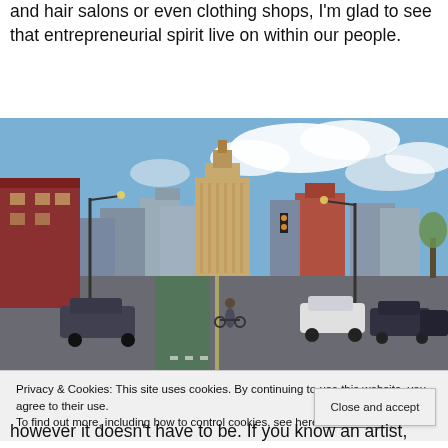and hair salons or even clothing shops, I'm glad to see that entrepreneurial spirit live on within our people.
[Figure (photo): Street-level photo of a city boulevard with cars and a cyclist in a dedicated green bike lane, with downtown skyscrapers and a prominent art-deco tower visible in the background under a partly cloudy blue sky.]
Privacy & Cookies: This site uses cookies. By continuing to use this website, you agree to their use.
To find out more, including how to control cookies, see here: Cookie Policy
however it doesn't have to be. If you know an artist, share